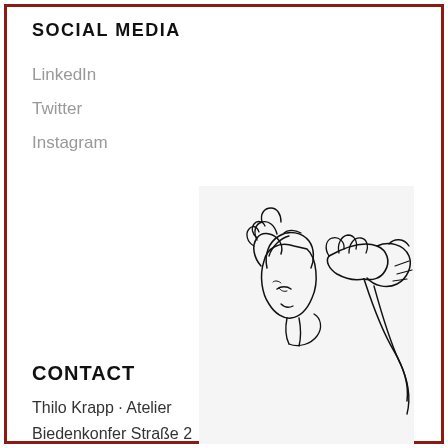SOCIAL MEDIA
LinkedIn
Twitter
Instagram
[Figure (illustration): Line drawing of a person leaning forward with hands on head, viewed from the side, in a contemplative or stressed pose. Black ink sketch on light gray background.]
CONTACT
Thilo Krapp · Atelier
Biedenkonfer Straße 2